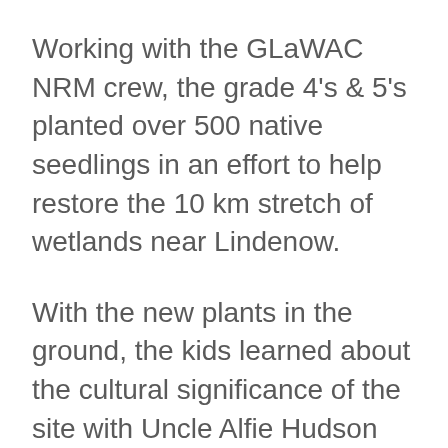Working with the GLaWAC NRM crew, the grade 4's & 5's planted over 500 native seedlings in an effort to help restore the 10 km stretch of wetlands near Lindenow.
With the new plants in the ground, the kids learned about the cultural significance of the site with Uncle Alfie Hudson and were excited to find a baby Eastern long neck turtle hatchling with the team from Bug Blitz.
The event was organised by Greening Australia (GA) in collaboration with the East Gippsland Catchment Management Authority with funding provided by the Victorian State